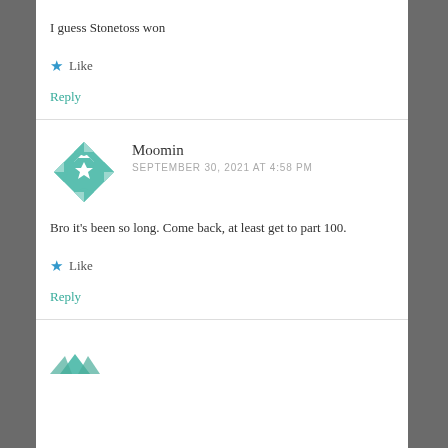I guess Stonetoss won
Like
Reply
Moomin
SEPTEMBER 30, 2021 AT 4:58 PM
Bro it's been so long. Come back, at least get to part 100.
Like
Reply